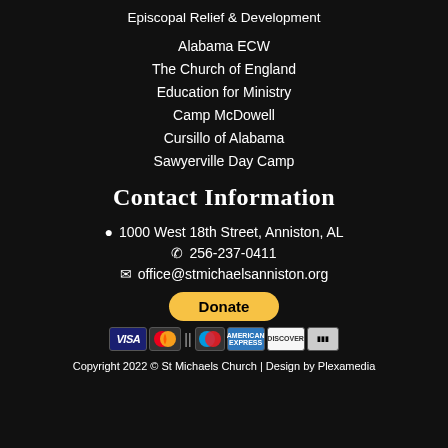Episcopal Relief & Development
Alabama ECW
The Church of England
Education for Ministry
Camp McDowell
Cursillo of Alabama
Sawyerville Day Camp
Contact Information
1000 West 18th Street, Anniston, AL
256-237-0411
office@stmichaelsanniston.org
[Figure (other): Donate button (PayPal yellow) and payment card icons: VISA, Mastercard, Maestro, American Express, Discover, and another card]
Copyright 2022 © St Michaels Church | Design by Plexamedia